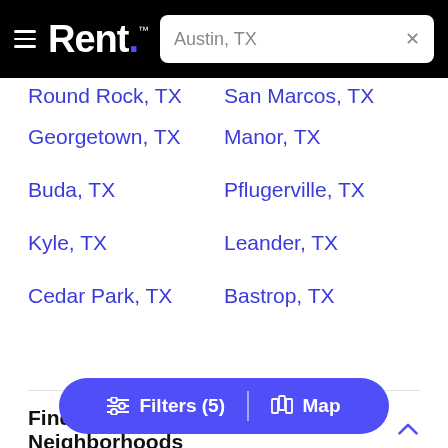Rent. [logo] | Austin, TX [search]
Round Rock, TX | San Marcos, TX
Georgetown, TX | Manor, TX
Buda, TX | Pflugerville, TX
Kyle, TX | Leander, TX
Cedar Park, TX | Bastrop, TX
Find Apartments in Nearby Neighborhoods
Downtown | West University
Clarksville | River City
2nd Street